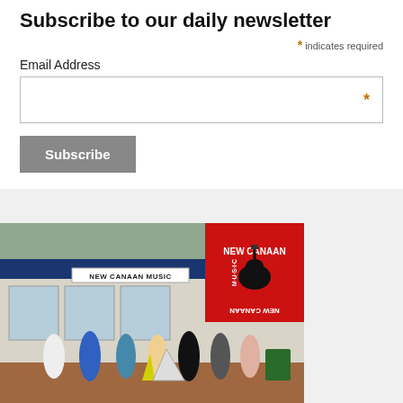Subscribe to our daily newsletter
* indicates required
Email Address
*
Subscribe
[Figure (photo): Advertisement photo for New Canaan Music store showing the storefront with a group of people standing outside, and the New Canaan Music logo (red square with guitar graphic and text). Bottom bar reads: Guitars • Drums • Amps | 90 Main Street]